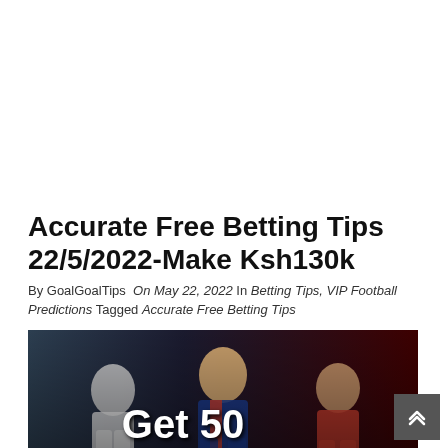Accurate Free Betting Tips 22/5/2022-Make Ksh130k
By GoalGoalTips  On May 22, 2022 In Betting Tips, VIP Football Predictions Tagged Accurate Free Betting Tips
[Figure (photo): Three soccer players (Ronaldo, Messi, Salah) in a dark composite photo with overlay text 'Get 50 sure tips' in white and red]